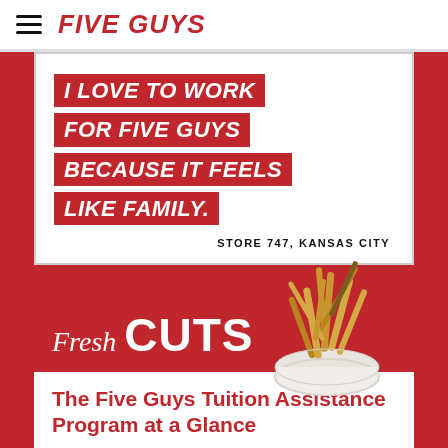FIVE GUYS
I LOVE TO WORK FOR FIVE GUYS BECAUSE IT FEELS LIKE FAMILY. STORE 747, KANSAS CITY
[Figure (photo): Fresh CUTS banner with a bowl of french fries overflowing, set on a red background]
The Five Guys Tuition Assistance Program at a Glance